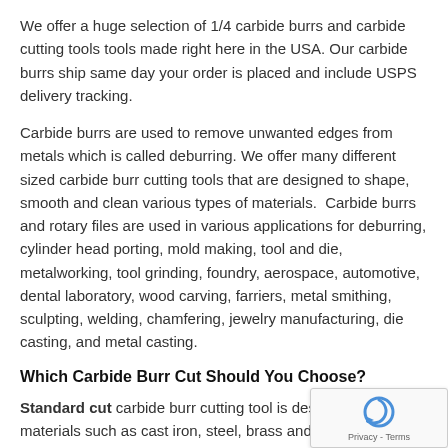We offer a huge selection of 1/4 carbide burrs and carbide cutting tools tools made right here in the USA. Our carbide burrs ship same day your order is placed and include USPS delivery tracking.
Carbide burrs are used to remove unwanted edges from metals which is called deburring. We offer many different sized carbide burr cutting tools that are designed to shape, smooth and clean various types of materials.  Carbide burrs and rotary files are used in various applications for deburring, cylinder head porting, mold making, tool and die, metalworking, tool grinding, foundry, aerospace, automotive, dental laboratory, wood carving, farriers, metal smithing, sculpting, welding, chamfering, jewelry manufacturing, die casting, and metal casting.
Which Carbide Burr Cut Should You Choose?
Standard cut carbide burr cutting tool is designed for fi... materials such as cast iron, steel, brass and copper alloy... Provides an excellent surface finish and removes the...